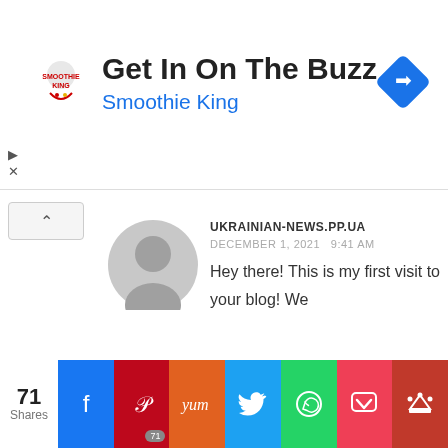[Figure (infographic): Advertisement banner for Smoothie King with logo, title 'Get In On The Buzz', subtitle 'Smoothie King', and a blue diamond navigation icon.]
UKRAINIAN-NEWS.PP.UA
DECEMBER 1, 2021   9:41 AM
Hey there! This is my first visit to your blog! We are a team of volunteers and starting a new initiative in a community in the same niche. Your blog provided us beneficial information to work on. You have done a extraordinary job!
[Figure (infographic): Social share bar with 71 Shares. Buttons: Facebook, Pinterest (71), Yummly, Twitter, WhatsApp, Pocket, Crown.]